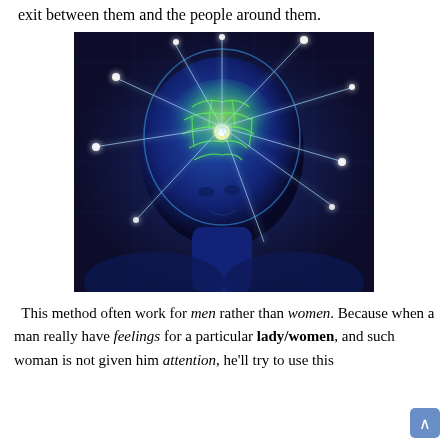exit between them and the people around them.
[Figure (illustration): A glowing digital illustration of a human head with a transparent skull revealing the brain, with beams of light radiating outward from the brain against a dark blue background with circuit-like patterns.]
This method often work for men rather than women. Because when a man really have feelings for a particular lady/woman, and such woman is not given him attention, he'll try to use this method by study...